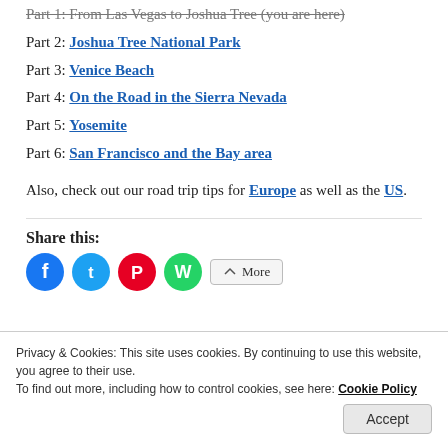Part 1: From Las Vegas to Joshua Tree (you are here)
Part 2: Joshua Tree National Park
Part 3: Venice Beach
Part 4: On the Road in the Sierra Nevada
Part 5: Yosemite
Part 6: San Francisco and the Bay area
Also, check out our road trip tips for Europe as well as the US.
Share this:
[Figure (infographic): Share buttons: Facebook (blue circle), Twitter (blue circle), Pinterest (red circle), WhatsApp (green circle), and a More button]
Privacy & Cookies: This site uses cookies. By continuing to use this website, you agree to their use. To find out more, including how to control cookies, see here: Cookie Policy